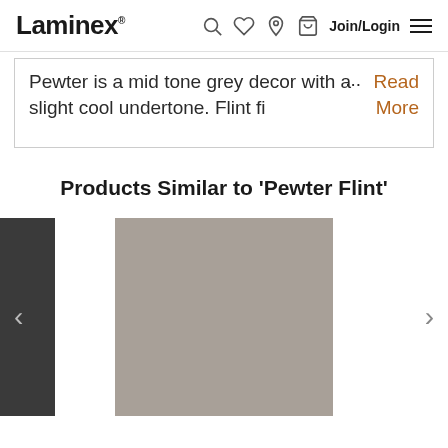Laminex — Join/Login
Pewter is a mid tone grey decor with a slight cool undertone. Flint fi ... Read More
Products Similar to 'Pewter Flint'
[Figure (photo): Product carousel showing a grey laminate swatch similar to Pewter Flint, with left and right navigation arrows]